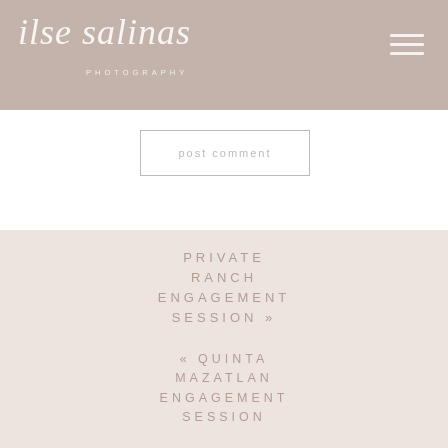ilse salinas PHOTOGRAPHY
Post Comment
PRIVATE RANCH ENGAGEMENT SESSION »
« QUINTA MAZATLAN ENGAGEMENT SESSION